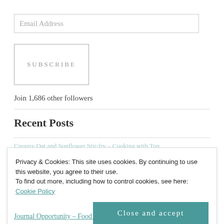[Figure (screenshot): Email address input field with placeholder text]
[Figure (screenshot): Subscribe button with uppercase letter-spaced text]
Join 1,686 other followers
Recent Posts
Privacy & Cookies: This site uses cookies. By continuing to use this website, you agree to their use.
To find out more, including how to control cookies, see here: Cookie Policy
[Figure (screenshot): Close and accept button for cookie banner]
Journal Opportunity – Food As Ally